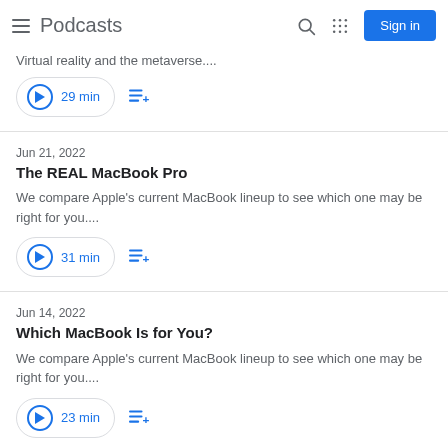Podcasts
Virtual reality and the metaverse....
29 min
Jun 21, 2022
The REAL MacBook Pro
We compare Apple's current MacBook lineup to see which one may be right for you....
31 min
Jun 14, 2022
Which MacBook Is for You?
We compare Apple's current MacBook lineup to see which one may be right for you....
23 min